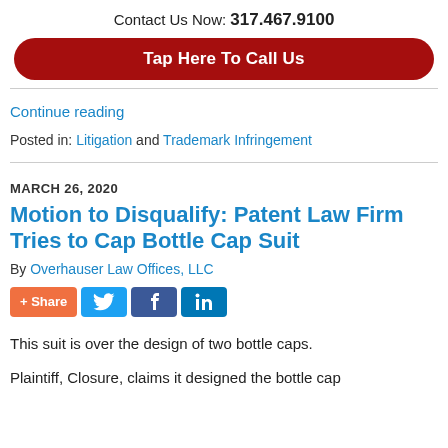Contact Us Now: 317.467.9100
[Figure (other): Red rounded button: Tap Here To Call Us]
Continue reading
Posted in: Litigation and Trademark Infringement
MARCH 26, 2020
Motion to Disqualify: Patent Law Firm Tries to Cap Bottle Cap Suit
By Overhauser Law Offices, LLC
[Figure (other): Social share buttons: +Share, Twitter, Facebook, LinkedIn]
This suit is over the design of two bottle caps.
Plaintiff, Closure, claims it designed the bottle cap